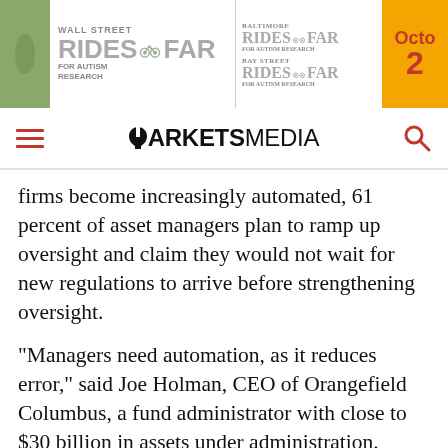[Figure (illustration): Wall Street Rides FAR for Autism Research banner ad with Baltimore Rides FAR, Bay Street Rides FAR logos and orange October date box]
[Figure (logo): Markets Media navigation bar logo with hamburger menu and search icon]
firms become increasingly automated, 61 percent of asset managers plan to ramp up oversight and claim they would not wait for new regulations to arrive before strengthening oversight.
“Managers need automation, as it reduces error,” said Joe Holman, CEO of Orangefield Columbus, a fund administrator with close to $30 billion in assets under administration. “However, the risk of implementing a